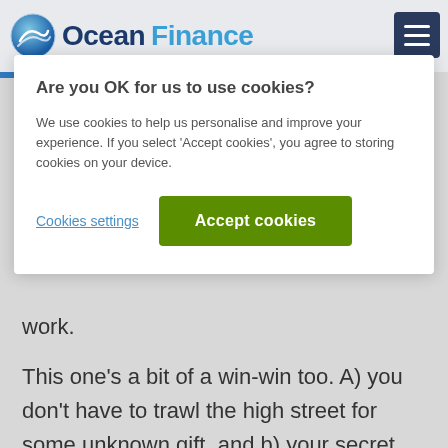Ocean Finance
Are you OK for us to use cookies?
We use cookies to help us personalise and improve your experience. If you select 'Accept cookies', you agree to storing cookies on your device.
work.
This one's a bit of a win-win too. A) you don't have to trawl the high street for some unknown gift, and b) your secret Santa can spend the voucher on something they actually want.